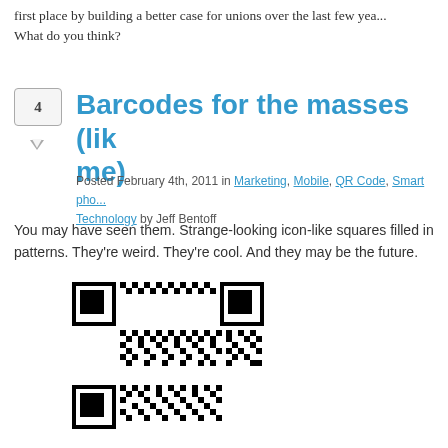first place by building a better case for unions over the last few years. What do you think?
Barcodes for the masses (like me)
Posted February 4th, 2011 in Marketing, Mobile, QR Code, Smart phones, Technology by Jeff Bentoff
You may have seen them. Strange-looking icon-like squares filled in patterns. They're weird. They're cool. And they may be the future.
[Figure (photo): A QR code barcode image]